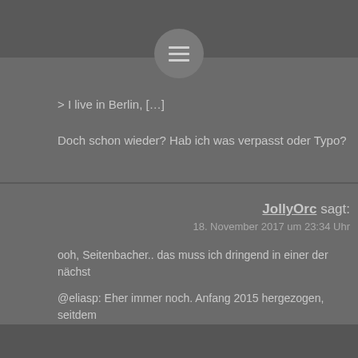☰
> I live in Berlin, […]
Doch schon wieder? Hab ich was verpasst oder Typo?
JollyOrc sagt:
18. November 2017 um 23:34 Uhr
ooh, Seitenbacher.. das muss ich dringend in einer der nächst
@eliasp: Eher immer noch. Anfang 2015 hergezogen, seitdem